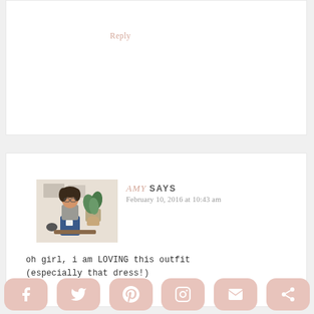Reply
[Figure (photo): Avatar photo of Amy, a woman sitting with a plant in the background]
AMY SAYS
February 10, 2016 at 10:43 am
oh girl, i am LOVING this outfit (especially that dress!)
Reply
[Figure (infographic): Social sharing bar with Facebook, Twitter, Pinterest, Instagram, Email, and Share icons]